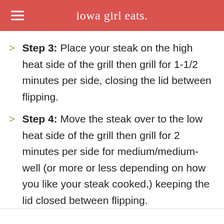iowa girl eats.
Step 3: Place your steak on the high heat side of the grill then grill for 1-1/2 minutes per side, closing the lid between flipping.
Step 4: Move the steak over to the low heat side of the grill then grill for 2 minutes per side for medium/medium-well (or more or less depending on how you like your steak cooked,) keeping the lid closed between flipping.